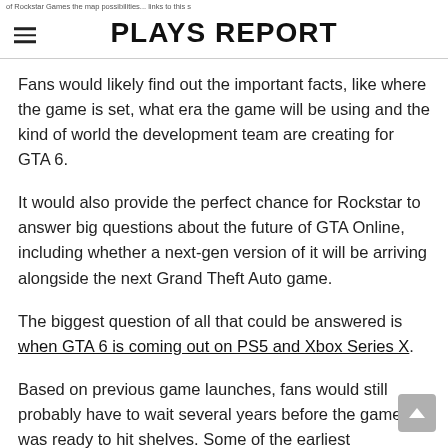PLAYS REPORT
Fans would likely find out the important facts, like where the game is set, what era the game will be using and the kind of world the development team are creating for GTA 6.
It would also provide the perfect chance for Rockstar to answer big questions about the future of GTA Online, including whether a next-gen version of it will be arriving alongside the next Grand Theft Auto game.
The biggest question of all that could be answered is when GTA 6 is coming out on PS5 and Xbox Series X.
Based on previous game launches, fans would still probably have to wait several years before the game was ready to hit shelves. Some of the earliest predictions are based on 2023, and there's no reason why Rockstar Games wouldn't be comfortable with